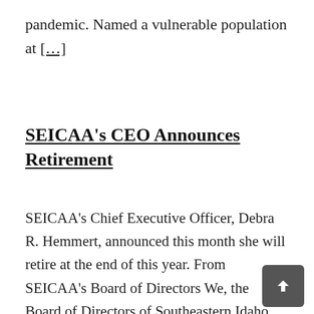pandemic. Named a vulnerable population at [...]
SEICAA's CEO Announces Retirement
SEICAA's Chief Executive Officer, Debra R. Hemmert, announced this month she will retire at the end of this year. From SEICAA's Board of Directors We, the Board of Directors of Southeastern Idaho Community Action Agency, Inc. (SEICAA), formally announce the retirement of our Chief